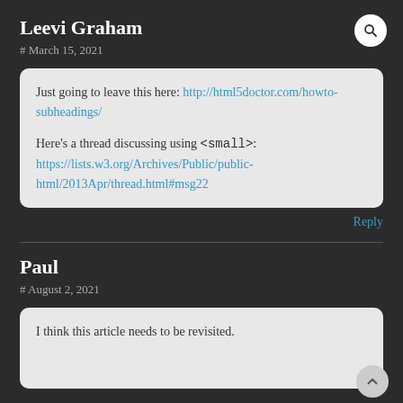Leevi Graham
# March 15, 2021
Just going to leave this here: http://html5doctor.com/howto-subheadings/

Here's a thread discussing using <small>: https://lists.w3.org/Archives/Public/public-html/2013Apr/thread.html#msg22
Reply
Paul
# August 2, 2021
I think this article needs to be revisited.